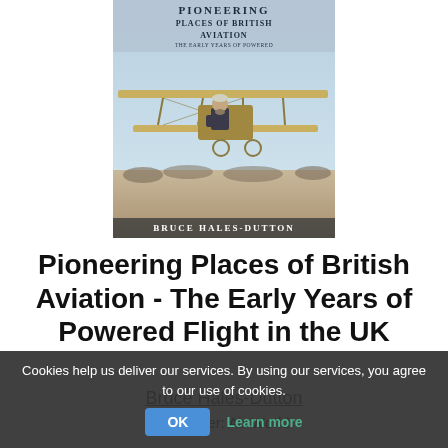[Figure (illustration): Book cover of 'Pioneering Places of British Aviation - The Early Years of Powered Flight in the UK' by Bruce Hales-Dutton. Shows a man seated in an early biplane aircraft, with text on a sky background.]
Pioneering Places of British Aviation - The Early Years of Powered Flight in the UK
Bruce Hales-Dutton
Publisher: Air World
Cookies help us deliver our services. By using our services, you agree to our use of cookies.